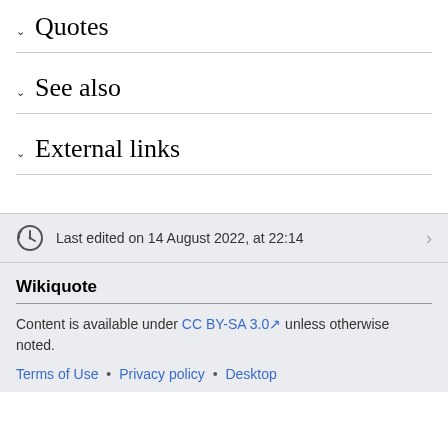Quotes
See also
External links
Last edited on 14 August 2022, at 22:14
Wikiquote
Content is available under CC BY-SA 3.0 unless otherwise noted.
Terms of Use • Privacy policy • Desktop